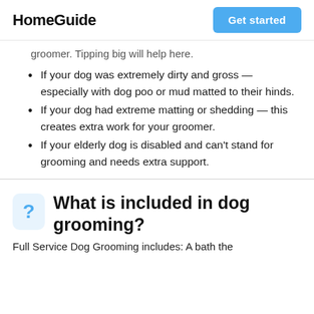HomeGuide | Get started
groomer. Tipping big will help here.
If your dog was extremely dirty and gross — especially with dog poo or mud matted to their hinds.
If your dog had extreme matting or shedding — this creates extra work for your groomer.
If your elderly dog is disabled and can't stand for grooming and needs extra support.
What is included in dog grooming?
Full Service Dog Grooming includes: A bath the